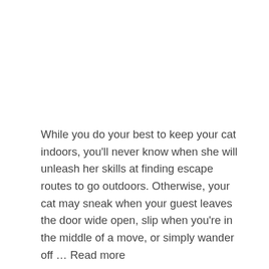While you do your best to keep your cat indoors, you'll never know when she will unleash her skills at finding escape routes to go outdoors. Otherwise, your cat may sneak when your guest leaves the door wide open, slip when you're in the middle of a move, or simply wander off … Read more